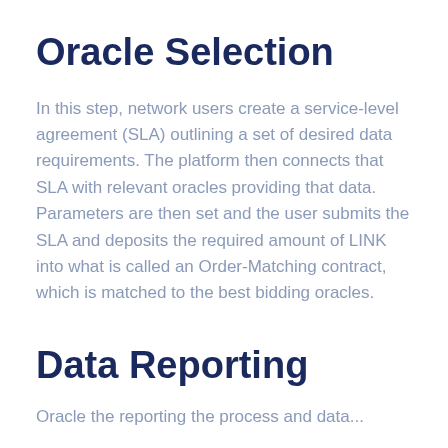Oracle Selection
In this step, network users create a service-level agreement (SLA) outlining a set of desired data requirements. The platform then connects that SLA with relevant oracles providing that data. Parameters are then set and the user submits the SLA and deposits the required amount of LINK into what is called an Order-Matching contract, which is matched to the best bidding oracles.
Data Reporting
Oracle the reporting the process and data...